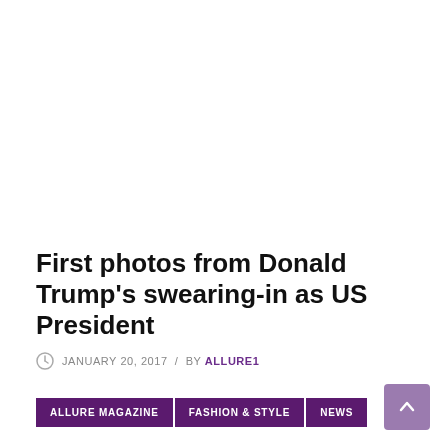First photos from Donald Trump's swearing-in as US President
JANUARY 20, 2017 / BY ALLURE1
ALLURE MAGAZINE | FASHION & STYLE | NEWS